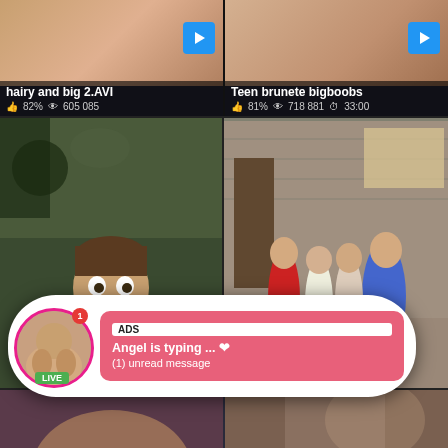hairy and big 2.AVI
82%  605 085
Teen brunete bigboobs
81%  718 881  33:00
[Figure (photo): Male performer, young, in green shirt, Brazzers watermark]
[Figure (photo): Classroom scene with multiple people]
Brazze...  93%
[Figure (other): Ad popup 1: profile avatar with LIVE badge, notification badge. ADS label, Angel is typing ... with heart emoji, (1) unread message]
ADS
Angel is typing ... ❤
(1) unread message
[Figure (photo): Partial body thumbnail left bottom]
[Figure (photo): Partial body thumbnail right bottom]
[Figure (other): Ad popup 2: profile avatar with LIVE badge, notification badge. ADS label, Jeniffer 2000, (00:12) with emoji]
ADS
Jeniffer  2000
(00:12)🎬
Classic Blo...